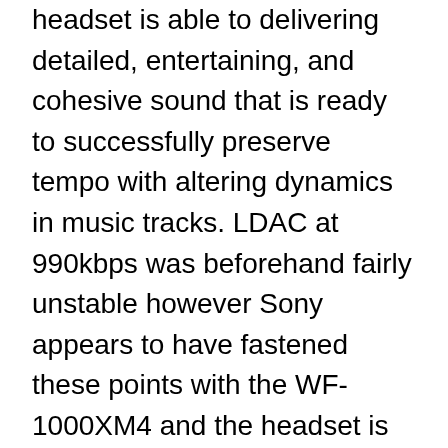headset is able to delivering detailed, entertaining, and cohesive sound that is ready to successfully preserve tempo with altering dynamics in music tracks. LDAC at 990kbps was beforehand fairly unstable however Sony appears to have fastened these points with the WF-1000XM4 and the headset is ready to sustain with the excessive knowledge price with no bother in any respect.
The Sennheiser Momentum True Wireless 3 equally sounds finest when used with a tool which helps the aptX Adaptive Bluetooth codec. Although not as detailed and analytical because the Sony WF-1000XM4, the sound is thrilling, pushed, and stuffed with character, making for a enjoyable and versatile sound that adapts properly to numerous genres. Even with the older aptX codec, sound high quality is acceptable and fairly